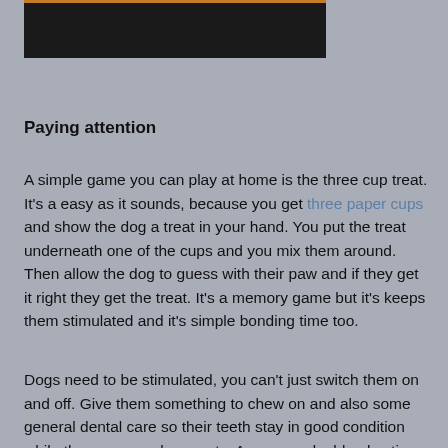[Figure (photo): Partial photo strip at top of page, mostly dark/black with colorful elements visible at top edge]
Paying attention
A simple game you can play at home is the three cup treat. It's a easy as it sounds, because you get three paper cups and show the dog a treat in your hand. You put the treat underneath one of the cups and you mix them around. Then allow the dog to guess with their paw and if they get it right they get the treat. It's a memory game but it's keeps them stimulated and it's simple bonding time too.
Dogs need to be stimulated, you can't just switch them on and off. Give them something to chew on and also some general dental care so their teeth stay in good condition while they gnaw on bones etc. Arrange a double play time